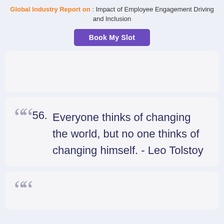Global Industry Report on : Impact of Employee Engagement Driving and Inclusion
Book My Slot
56. Everyone thinks of changing the world, but no one thinks of changing himself. - Leo Tolstoy